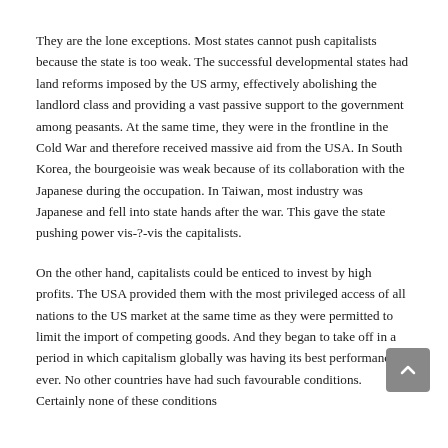They are the lone exceptions. Most states cannot push capitalists because the state is too weak. The successful developmental states had land reforms imposed by the US army, effectively abolishing the landlord class and providing a vast passive support to the government among peasants. At the same time, they were in the frontline in the Cold War and therefore received massive aid from the USA. In South Korea, the bourgeoisie was weak because of its collaboration with the Japanese during the occupation. In Taiwan, most industry was Japanese and fell into state hands after the war. This gave the state pushing power vis-?-vis the capitalists.
On the other hand, capitalists could be enticed to invest by high profits. The USA provided them with the most privileged access of all nations to the US market at the same time as they were permitted to limit the import of competing goods. And they began to take off in a period in which capitalism globally was having its best performance ever. No other countries have had such favourable conditions. Certainly none of these conditions